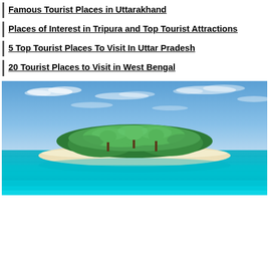Famous Tourist Places in Uttarakhand
Places of Interest in Tripura and Top Tourist Attractions
5 Top Tourist Places To Visit In Uttar Pradesh
20 Tourist Places to Visit in West Bengal
[Figure (photo): A tropical island with dense green palm trees in the center, surrounded by turquoise-blue ocean water and a white sandy beach, photographed under a partly cloudy blue sky.]